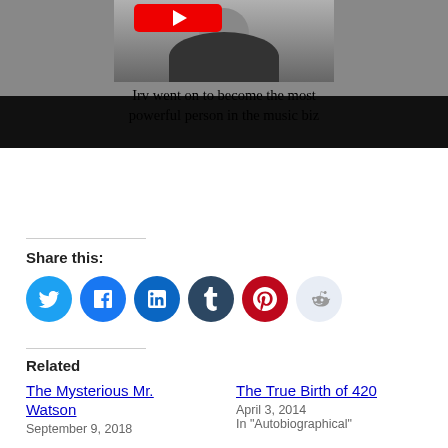[Figure (photo): Photo of a person wearing a black jacket with a YouTube play button logo overlaid on their face, partially cropped at top]
Irv went on to become the most powerful person in the music biz
Share this:
Twitter, Facebook, LinkedIn, Tumblr, Pinterest, Reddit social share buttons
Related
The Mysterious Mr. Watson
September 9, 2018
The True Birth of 420
April 3, 2014
In "Autobiographical"